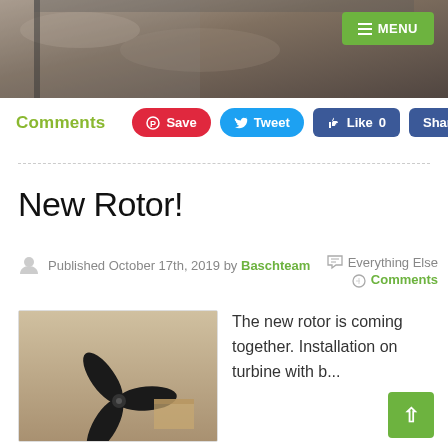[Figure (photo): Top portion of a webpage showing a header photo of gravel/outdoor scene with a green MENU button in the top right corner.]
Comments Save Tweet Like 0 Share
New Rotor!
Published October 17th, 2019 by Baschteam  Everything Else Comments
[Figure (photo): Photo of a black drone rotor/propeller assembly on a concrete floor with cardboard boxes in the background.]
The new rotor is coming together. Installation on turbine with b...